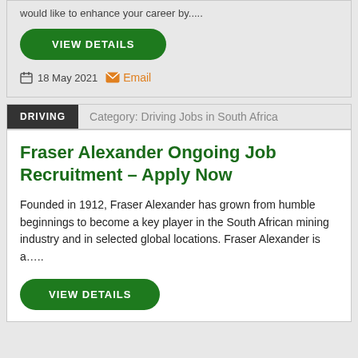would like to enhance your career by.....
VIEW DETAILS
18 May 2021  Email
DRIVING   Category: Driving Jobs in South Africa
Fraser Alexander Ongoing Job Recruitment – Apply Now
Founded in 1912, Fraser Alexander has grown from humble beginnings to become a key player in the South African mining industry and in selected global locations. Fraser Alexander is a…..
VIEW DETAILS